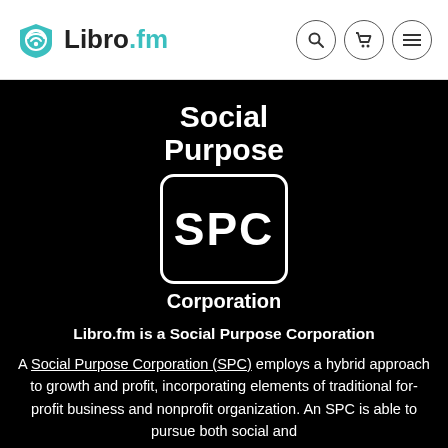Libro.fm
[Figure (logo): Social Purpose Corporation SPC logo — white text on black background showing 'Social Purpose' above a rounded rectangle containing 'SPC' and 'Corporation' below]
Libro.fm is a Social Purpose Corporation
A Social Purpose Corporation (SPC) employs a hybrid approach to growth and profit, incorporating elements of traditional for-profit business and nonprofit organization. An SPC is able to pursue both social and